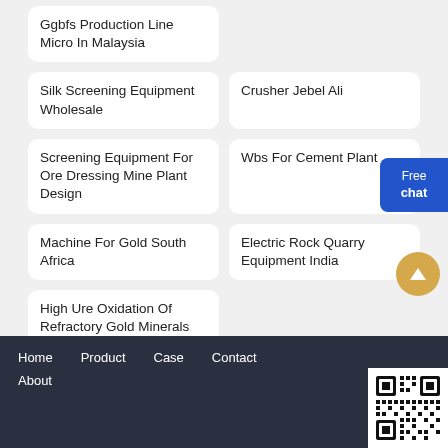Ggbfs Production Line Micro In Malaysia
Silk Screening Equipment Wholesale
Crusher Jebel Ali
Screening Equipment For Ore Dressing Mine Plant Design
Wbs For Cement Plant
Machine For Gold South Africa
Electric Rock Quarry Equipment India
High Ure Oxidation Of Refractory Gold Minerals
Home   Product   Case   Contact   About